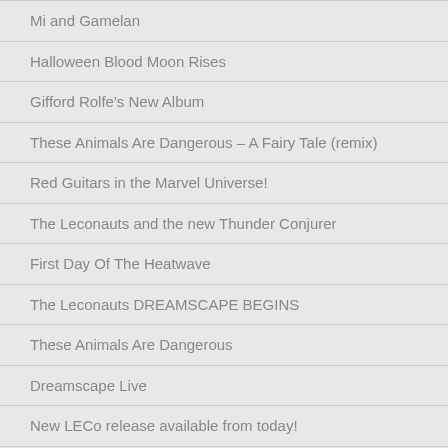Mi and Gamelan
Halloween Blood Moon Rises
Gifford Rolfe's New Album
These Animals Are Dangerous – A Fairy Tale (remix)
Red Guitars in the Marvel Universe!
The Leconauts and the new Thunder Conjurer
First Day Of The Heatwave
The Leconauts DREAMSCAPE BEGINS
These Animals Are Dangerous
Dreamscape Live
New LECo release available from today!
Weatherbird